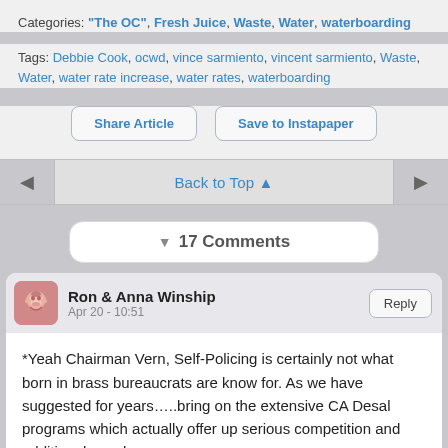Categories: "The OC", Fresh Juice, Waste, Water, waterboarding
Tags: Debbie Cook, ocwd, vince sarmiento, vincent sarmiento, Waste, Water, water rate increase, water rates, waterboarding
Share Article
Save to Instapaper
Back to Top ▲
▼ 17 Comments
Ron & Anna Winship
Apr 20 - 10:51
Reply
*Yeah Chairman Vern, Self-Policing is certainly not what born in brass bureaucrats are know for. As we have suggested for years…..bring on the extensive CA Desal programs which actually offer up serious competition and additional supply.